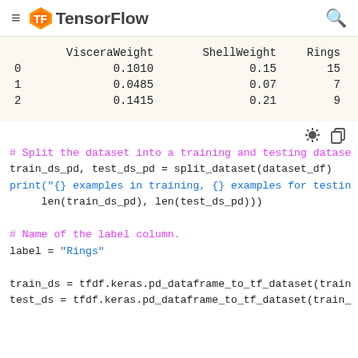TensorFlow
|  | VisceraWeight | ShellWeight | Rings |
| --- | --- | --- | --- |
| 0 | 0.1010 | 0.15 | 15 |
| 1 | 0.0485 | 0.07 | 7 |
| 2 | 0.1415 | 0.21 | 9 |
# Split the dataset into a training and testing dataset
train_ds_pd, test_ds_pd = split_dataset(dataset_df)
print("{} examples in training, {} examples for testing",
      len(train_ds_pd), len(test_ds_pd)))

# Name of the label column.
label = "Rings"

train_ds = tfdf.keras.pd_dataframe_to_tf_dataset(train
test_ds = tfdf.keras.pd_dataframe_to_tf_dataset(train_